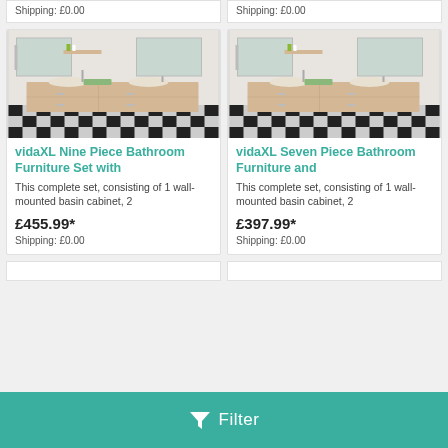Shipping: £0.00
Shipping: £0.00
[Figure (photo): vidaXL Nine Piece Bathroom Furniture Set with wall-mounted basin cabinet, shown with mirrors and towels on checkered floor]
vidaXL Nine Piece Bathroom Furniture Set with
This complete set, consisting of 1 wall-mounted basin cabinet, 2
£455.99*
Shipping: £0.00
[Figure (photo): vidaXL Seven Piece Bathroom Furniture and wall-mounted basin cabinet, shown with mirrors and towels on checkered floor]
vidaXL Seven Piece Bathroom Furniture and
This complete set, consisting of 1 wall-mounted basin cabinet, 2
£397.99*
Shipping: £0.00
Filter